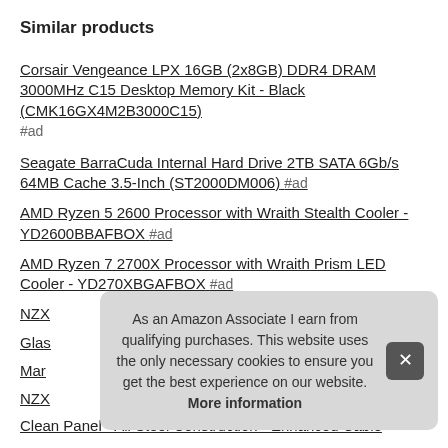Similar products
Corsair Vengeance LPX 16GB (2x8GB) DDR4 DRAM 3000MHz C15 Desktop Memory Kit - Black (CMK16GX4M2B3000C15) #ad
Seagate BarraCuda Internal Hard Drive 2TB SATA 6Gb/s 64MB Cache 3.5-Inch (ST2000DM006) #ad
AMD Ryzen 5 2600 Processor with Wraith Stealth Cooler - YD2600BBAFBOX #ad
AMD Ryzen 7 2700X Processor with Wraith Prism LED Cooler - YD270XBGAFBOX #ad
NZX...
Glas...
Mar...
NZX...
Clean Panel - All Steel Construction - Enhanced Cable
As an Amazon Associate I earn from qualifying purchases. This website uses the only necessary cookies to ensure you get the best experience on our website. More information